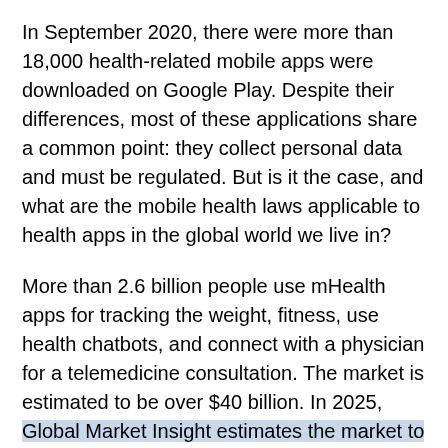In September 2020, there were more than 18,000 health-related mobile apps were downloaded on Google Play. Despite their differences, most of these applications share a common point: they collect personal data and must be regulated. But is it the case, and what are the mobile health laws applicable to health apps in the global world we live in?
More than 2.6 billion people use mHealth apps for tracking the weight, fitness, use health chatbots, and connect with a physician for a telemedicine consultation. The market is estimated to be over $40 billion. In 2025, Global Market Insight estimates the market to reach $289 billion.
The world is global, and big data is now a buzz word. We need to remember that for mHealth applications, the health information they collect represents very sensitive data that deserve to be protected. Being used in various countries, the applications need to